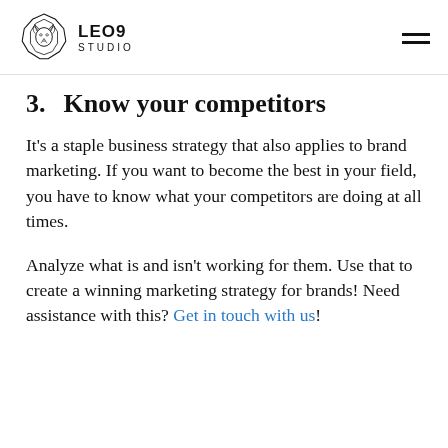LEO9 STUDIO
3.   Know your competitors
It’s a staple business strategy that also applies to brand marketing. If you want to become the best in your field, you have to know what your competitors are doing at all times.
Analyze what is and isn’t working for them. Use that to create a winning marketing strategy for brands! Need assistance with this? Get in touch with us!